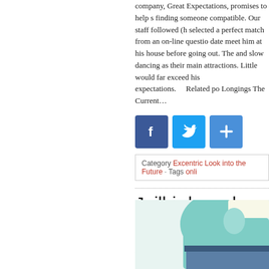company, Great Expectations, promises to help someone in finding someone compatible. Our staff followed (him) and selected a perfect match from an on-line questionnaire. The date meet him at his house before going out. The wining and slow dancing as their main attractions. Little would far exceed his expectations.    Related po... Longings The Current…
[Figure (infographic): Social share icons: Facebook (blue), Twitter (light blue), and a plus/share button (blue)]
Category Excentric Look into the Future · Tags onli...
Jailbirds and Onlin...
Posted by Fanny Herself on October 28, 2019 · Leave a C...
[Figure (photo): Close-up photo of a person wearing a teal/mint colored shirt and blue jeans]